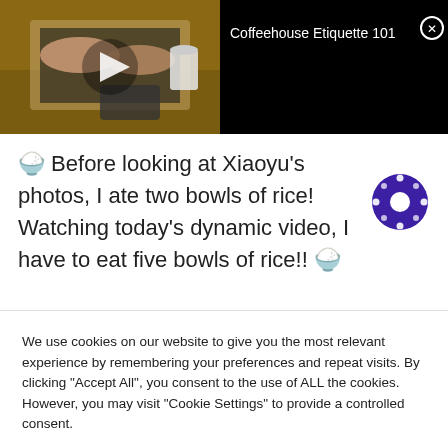[Figure (screenshot): Video banner with a laptop thumbnail on the left showing hands typing, a play button overlay, and black background on the right with text 'Coffeehouse Etiquette 101' and a close button.]
🍚 Before looking at Xiaoyu's photos, I ate two bowls of rice! Watching today's dynamic video, I have to eat five bowls of rice!! 🍚
We use cookies on our website to give you the most relevant experience by remembering your preferences and repeat visits. By clicking "Accept All", you consent to the use of ALL the cookies. However, you may visit "Cookie Settings" to provide a controlled consent.